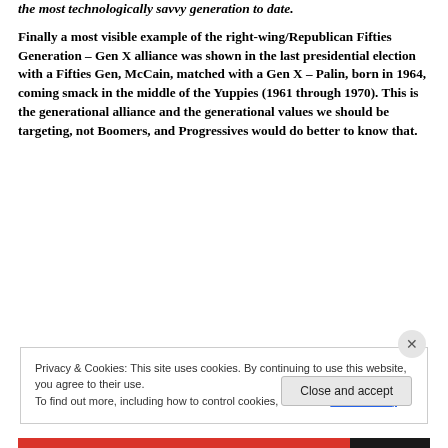the most technologically savvy generation to date.
Finally a most visible example of the right-wing/Republican Fifties Generation – Gen X alliance was shown in the last presidential election with a Fifties Gen, McCain, matched with a Gen X – Palin, born in 1964, coming smack in the middle of the Yuppies (1961 through 1970). This is the generational alliance and the generational values we should be targeting, not Boomers, and Progressives would do better to know that.
Privacy & Cookies: This site uses cookies. By continuing to use this website, you agree to their use.
To find out more, including how to control cookies, see here: Cookie Policy